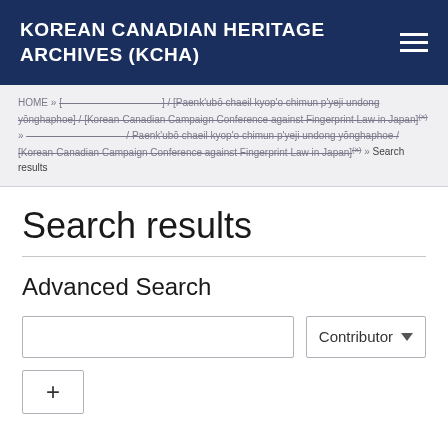KOREAN CANADIAN HERITAGE ARCHIVES (KCHA)
HOME » [——————————] / [Paenk'ubŏ chaeil kyop'o chimun p'yeji undong yŏnghaphoe] / [Korean-Canadian Campaign Conference against Fingerprint Law in Japan](x) » ——————————/ Paenk'ubŏ chaeil kyop'o chimun p'yeji undong yŏnghaphoe / [Korean-Canadian Campaign Conference against Fingerprint Law in Japan](x) » Search results
Search results
Advanced Search